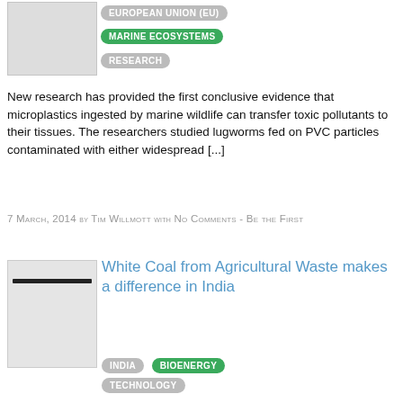[Figure (photo): Thumbnail image placeholder for first article (gray rectangle)]
EUROPEAN UNION (EU)
MARINE ECOSYSTEMS
RESEARCH
New research has provided the first conclusive evidence that microplastics ingested by marine wildlife can transfer toxic pollutants to their tissues. The researchers studied lugworms fed on PVC particles contaminated with either widespread [...]
7 March, 2014 by Tim Willmott with No Comments - Be the First
[Figure (photo): Thumbnail image for White Coal article showing a dark horizontal line on gray background]
White Coal from Agricultural Waste makes a difference in India
INDIA
BIOENERGY
TECHNOLOGY
White coal is a form of bio fuel produced by agriculture or forestry waste. It differs from charcoal and black coal and produces more heat than green wood. White coal is a biomass [...]